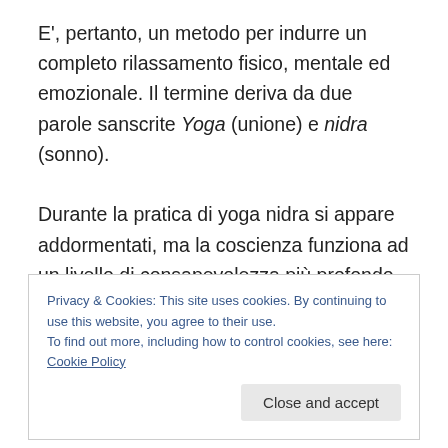E', pertanto, un metodo per indurre un completo rilassamento fisico, mentale ed emozionale. Il termine deriva da due parole sanscrite Yoga (unione) e nidra (sonno).

Durante la pratica di yoga nidra si appare addormentati, ma la coscienza funziona ad un livello di consapevolezza più profondo. Si tratta di un rilassamento interiore raggiunto in uno stato intermedio di sonno-veglia. La coscienza separata dall'esterno e dal sonno, diviene potente e può essere applicata, ad esempio, per
Privacy & Cookies: This site uses cookies. By continuing to use this website, you agree to their use.
To find out more, including how to control cookies, see here: Cookie Policy